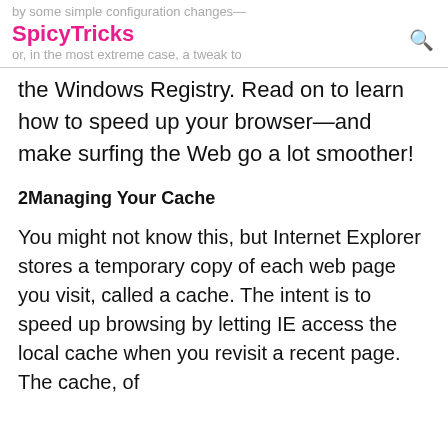by some simple configuration changes—SpicyTricks or, in the most extreme case, a tweak to
the Windows Registry. Read on to learn how to speed up your browser—and make surfing the Web go a lot smoother!
2Managing Your Cache
You might not know this, but Internet Explorer stores a temporary copy of each web page you visit, called a cache. The intent is to speed up browsing by letting IE access the local cache when you revisit a recent page. The cache, of